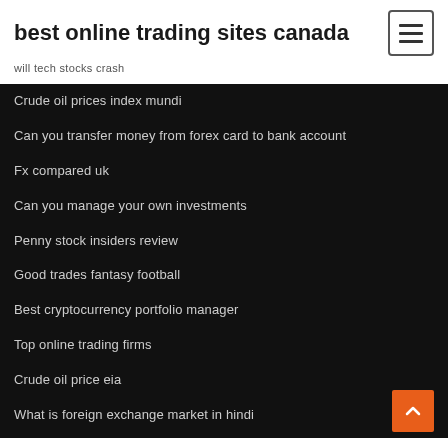best online trading sites canada
will tech stocks crash
Crude oil prices index mundi
Can you transfer money from forex card to bank account
Fx compared uk
Can you manage your own investments
Penny stock insiders review
Good trades fantasy football
Best cryptocurrency portfolio manager
Top online trading firms
Crude oil price eia
What is foreign exchange market in hindi